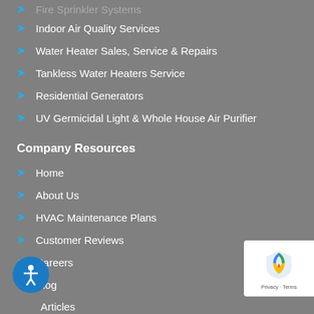Fire Sprinkler Systems
Indoor Air Quality Services
Water Heater Sales, Service & Repairs
Tankless Water Heaters Service
Residential Generators
UV Germicidal Light & Whole House Air Purifier
Company Resources
Home
About Us
HVAC Maintenance Plans
Customer Reviews
Careers
Blog
Articles
Contact Us
Sitemap